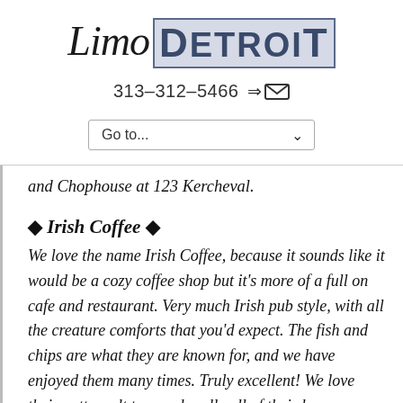[Figure (logo): Limo Detroit logo with italic 'Limo' text and bold 'DETROIT' in a styled block]
313-312-5466  ⇒✉
[Figure (other): Go to... dropdown navigation selector]
and Chophouse at 123 Kercheval.
♦ Irish Coffee ♦
We love the name Irish Coffee, because it sounds like it would be a cozy coffee shop but it's more of a full on cafe and restaurant. Very much Irish pub style, with all the creature comforts that you'd expect. The fish and chips are what they are known for, and we have enjoyed them many times. Truly excellent! We love their patty melt too, and really all of their burgers are